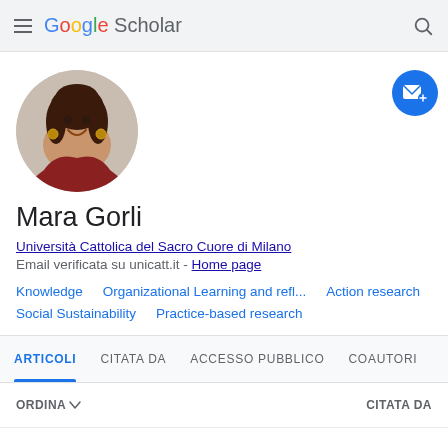Google Scholar
[Figure (photo): Profile photo of Mara Gorli, a woman with dark curly hair, smiling, shown in a circular crop]
Mara Gorli
Università Cattolica del Sacro Cuore di Milano
Email verificata su unicatt.it - Home page
Knowledge
Organizational Learning and refl...
Action research
Social Sustainability
Practice-based research
ARTICOLI   CITATA DA   ACCESSO PUBBLICO   COAUTORI
ORDINA ▾   CITATA DA